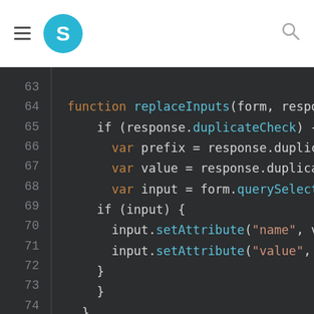[Figure (screenshot): Navigation bar with hamburger menu, blue circle logo with letter S, and search icon]
Code editor screenshot showing lines 63-79 of JavaScript code:
63: (empty)
64: function replaceInputs(form, response
65:     if (response.duplicateCheck) {
66:         var prefix = response.duplicateCh
67:         var value = response.duplicateChe
68:         var input = form.querySelector('.
69:         if (input) {
70:             input.setAttribute("name", val
71:             input.setAttribute("value", va
72:         }
73:     }
74: }
75: (empty)
76: /**
77:  * Remove the "disabled" state of t
78:  *
79:  * @property form
80:  */